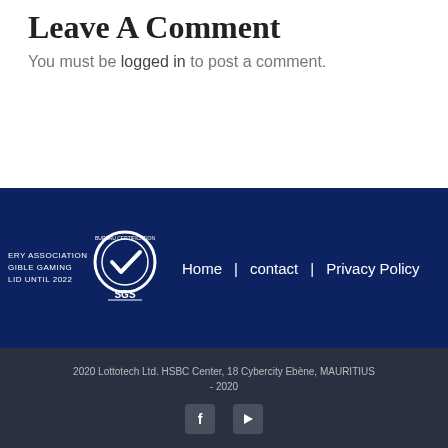Leave A Comment
You must be logged in to post a comment.
Home | contact | Privacy Policy
2020 Lottotech Ltd. HSBC Center, 18 Cybercity Ebène, MAURITIUS - 2020